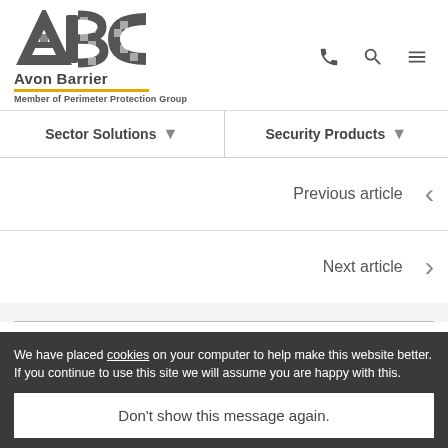[Figure (logo): Avon Barrier logo with ABC checkered pattern]
Avon Barrier
Member of Perimeter Protection Group
Sector Solutions
Security Products
Previous article
Next article
We have placed cookies on your computer to help make this website better. If you continue to use this site we will assume you are happy with this.
Don't show this message again.